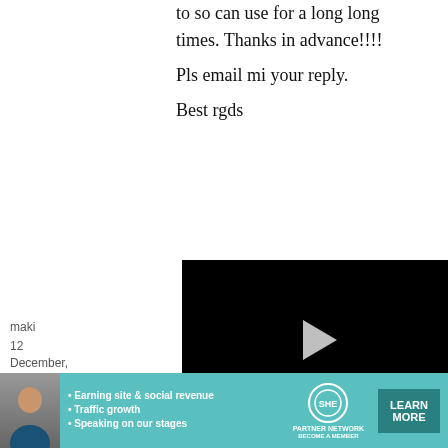to so can use for a long long times. Thanks in advance!!!!

Pls email mi your reply.

Best rgds
[Figure (screenshot): Video player overlay with black screen, play button, progress bar, and video controls showing 13:52 timestamp]
maki
12 December, 2009 -
[Figure (screenshot): Ad overlay showing 'to wash &' text in green]
[Figure (screenshot): SHE Partner Network advertisement banner with photo, bullet points about Earning site & social revenue, Traffic growth, Speaking on our stages, SHE logo, and LEARN MORE button]